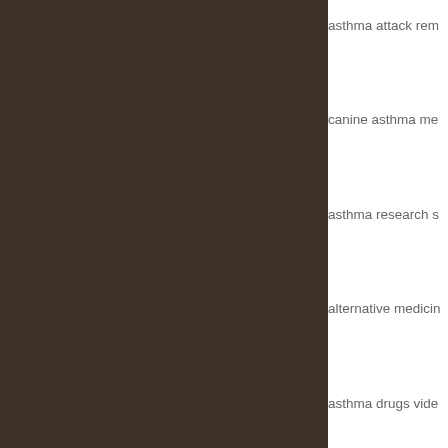asthma attack rem…
canine asthma me…
asthma research s…
alternative medicin…
asthma drugs vide…
canine asthma
asthma camps
asthma and exercis…
smoking and asthm…
asthma in infants
severe asthma ver…
exercise induced a…